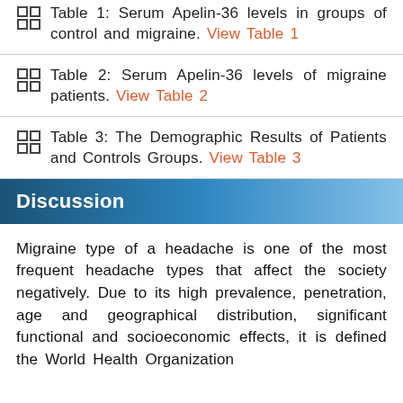Table 1: Serum Apelin-36 levels in groups of control and migraine. View Table 1
Table 2: Serum Apelin-36 levels of migraine patients. View Table 2
Table 3: The Demographic Results of Patients and Controls Groups. View Table 3
Discussion
Migraine type of a headache is one of the most frequent headache types that affect the society negatively. Due to its high prevalence, penetration, age and geographical distribution, significant functional and socioeconomic effects, it is defined the World Health Organization...